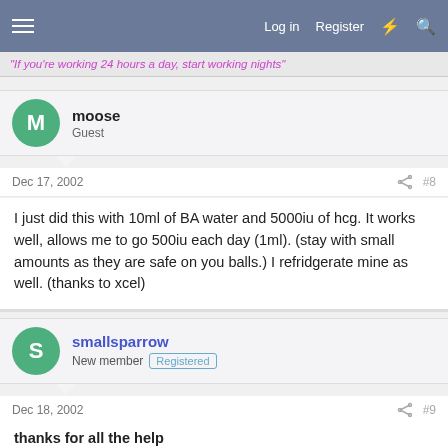Log in  Register
"If you're working 24 hours a day, start working nights"
moose
Guest
Dec 17, 2002   #8
I just did this with 10ml of BA water and 5000iu of hcg. It works well, allows me to go 500iu each day (1ml). (stay with small amounts as they are safe on you balls.) I refridgerate mine as well. (thanks to xcel)
smallsparrow
New member  Registered
Dec 18, 2002   #9
thanks for all the help